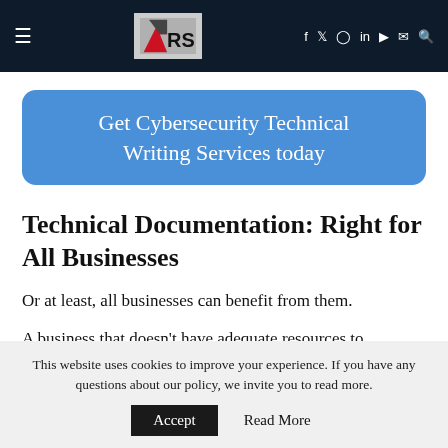RSI — navigation bar with hamburger menu, RSI logo, and social icons: f, Twitter, Instagram, in, YouTube, mail, search
[Figure (other): Blue rounded rectangle CTA button with text: Get Cybersecurity Technical Writing Services today]
Technical Documentation: Right for All Businesses
Or at least, all businesses can benefit from them.
A business that doesn't have adequate resources to
This website uses cookies to improve your experience. If you have any questions about our policy, we invite you to read more.
Accept   Read More